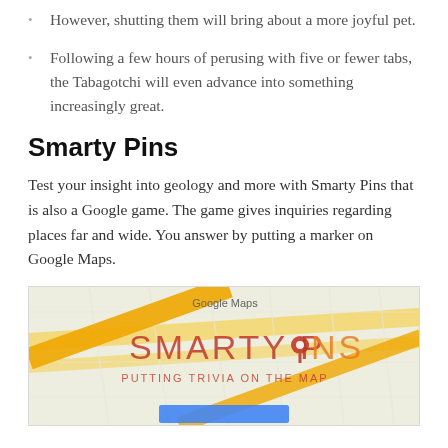However, shutting them will bring about a more joyful pet.
Following a few hours of perusing with five or fewer tabs, the Tabagotchi will even advance into something increasingly great.
Smarty Pins
Test your insight into geology and more with Smarty Pins that is also a Google game. The game gives inquiries regarding places far and wide. You answer by putting a marker on Google Maps.
[Figure (screenshot): Screenshot of the Smarty Pins Google Maps game showing the logo 'SMARTY PINS' and subtitle 'PUTTING TRIVIA ON THE MAP' overlaid on a Google Maps view.]